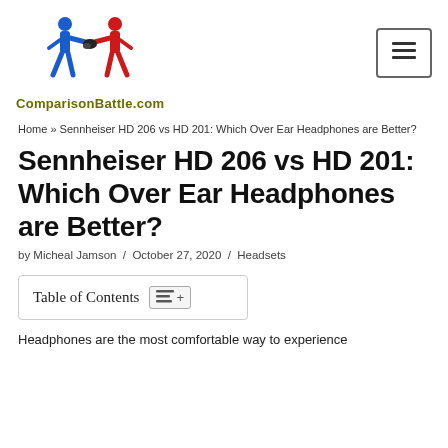[Figure (logo): ComparisonBattle.com logo with two boxing figures (blue and red) and site name in olive/dark yellow text]
Home » Sennheiser HD 206 vs HD 201: Which Over Ear Headphones are Better?
Sennheiser HD 206 vs HD 201: Which Over Ear Headphones are Better?
by Micheal Jamson / October 27, 2020 / Headsets
Table of Contents
Headphones are the most comfortable way to experience